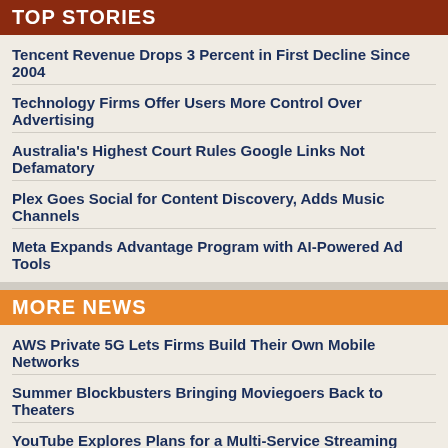TOP STORIES
Tencent Revenue Drops 3 Percent in First Decline Since 2004
Technology Firms Offer Users More Control Over Advertising
Australia's Highest Court Rules Google Links Not Defamatory
Plex Goes Social for Content Discovery, Adds Music Channels
Meta Expands Advantage Program with AI-Powered Ad Tools
MORE NEWS
AWS Private 5G Lets Firms Build Their Own Mobile Networks
Summer Blockbusters Bringing Moviegoers Back to Theaters
YouTube Explores Plans for a Multi-Service Streaming Portal
Nvidia and Stanford Develop Downsized Holographic Glasses